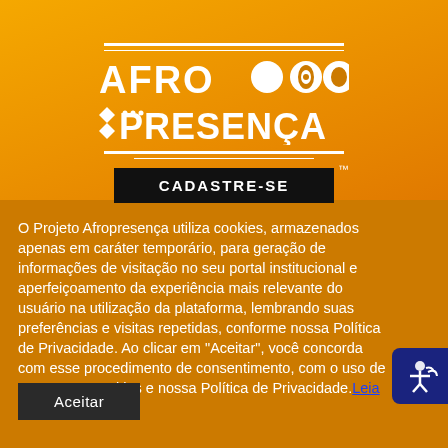[Figure (logo): Afropresença logo with white text on orange/yellow gradient background, featuring geometric symbols and circles]
CADASTRE-SE
O Projeto Afropresença utiliza cookies, armazenados apenas em caráter temporário, para geração de informações de visitação no seu portal institucional e aperfeiçoamento da experiência mais relevante do usuário na utilização da plataforma, lembrando suas preferências e visitas repetidas, conforme nossa Política de Privacidade. Ao clicar em "Aceitar", você concorda com esse procedimento de consentimento, com o uso de TODOS os cookies e nossa Política de Privacidade. Leia Mais
Aceitar